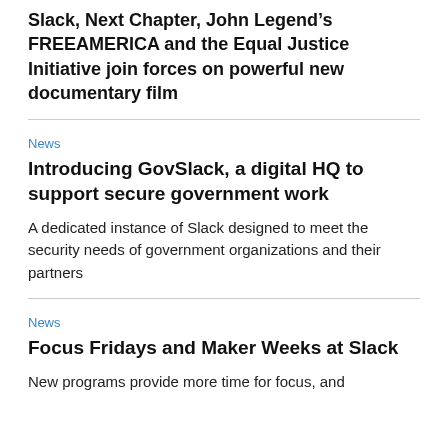Slack, Next Chapter, John Legend’s FREEAMERICA and the Equal Justice Initiative join forces on powerful new documentary film
News
Introducing GovSlack, a digital HQ to support secure government work
A dedicated instance of Slack designed to meet the security needs of government organizations and their partners
News
Focus Fridays and Maker Weeks at Slack
New programs provide more time for focus, and